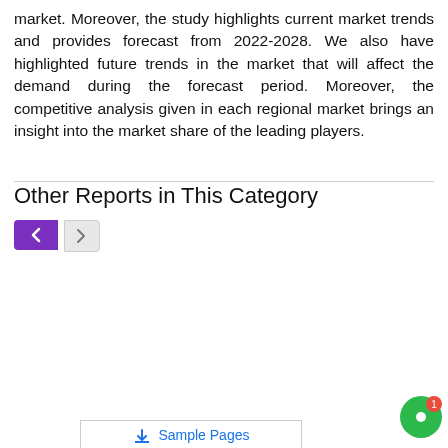market. Moreover, the study highlights current market trends and provides forecast from 2022-2028. We also have highlighted future trends in the market that will affect the demand during the forecast period. Moreover, the competitive analysis given in each regional market brings an insight into the market share of the leading players.
Other Reports in This Category
[Figure (screenshot): Cookie consent overlay with light blue background, message 'This website uses cookies to ensure you get the best experience on our website.' with Read More link and Got it! button. Overlapping chat widget showing 'Welcome to Infinium Global Research, Is there anything we may help?' with a customer chat footer.]
Sample Pages